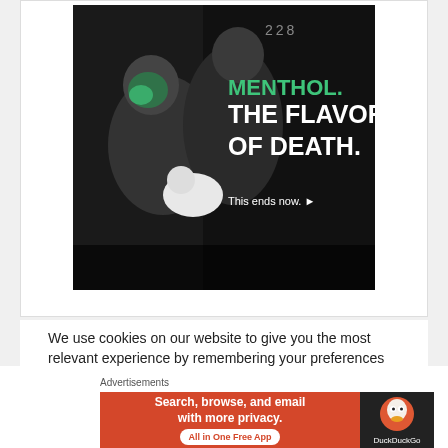[Figure (photo): Anti-menthol tobacco advertisement showing two people (one with green paint on face) holding a baby in black and white photo. Text reads 'MENTHOL. THE FLAVOR OF DEATH. This ends now.' on black background with number 228 visible.]
We use cookies on our website to give you the most relevant experience by remembering your preferences and repeat visits. By clicking "Accept All", you consent to the use of ALL the cookies. However, you may visit "Cookie Settings" to provide a controlled consent.
[Figure (screenshot): DuckDuckGo advertisement banner with orange/red background. Text: 'Search, browse, and email with more privacy. All in One Free App' with DuckDuckGo logo on dark right panel.]